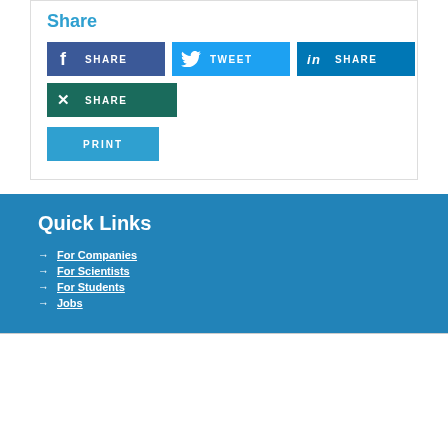Share
[Figure (infographic): Social share buttons: Facebook SHARE, Twitter TWEET, LinkedIn SHARE, XING SHARE, and a PRINT button]
Quick Links
For Companies
For Scientists
For Students
Jobs